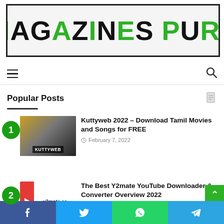[Figure (logo): Magazines Pure logo — large stylized text in green and black inside a hand-drawn border box]
[Figure (infographic): Navigation bar with hamburger menu icon on left and search icon on right]
Popular Posts
[Figure (photo): Kuttyweb movie collage thumbnail with KUTTYWEB label]
Kuttyweb 2022 – Download Tamil Movies and Songs for FREE
February 7, 2022
[Figure (logo): Y2mate logo thumbnail with red stripe and y2mate.cc text]
The Best Y2mate YouTube Downloader & Converter Overview 2022
December 24, 2021
[Figure (infographic): Social share bar with Facebook, Twitter, WhatsApp, and Telegram buttons]